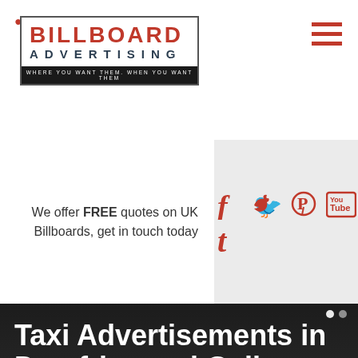[Figure (logo): Billboard Advertising logo with text 'WHERE YOU WANT THEM. WHEN YOU WANT THEM']
We offer FREE quotes on UK Billboards, get in touch today
[Figure (infographic): Social media icons: Facebook, Twitter, Pinterest, YouTube, Tumblr in red]
Taxi Advertisements in Dumfries and Galloway
Taxi advertising is an affordable and popular option with many, offering great return on investment and lots of different options. For more information, drop us a message today.